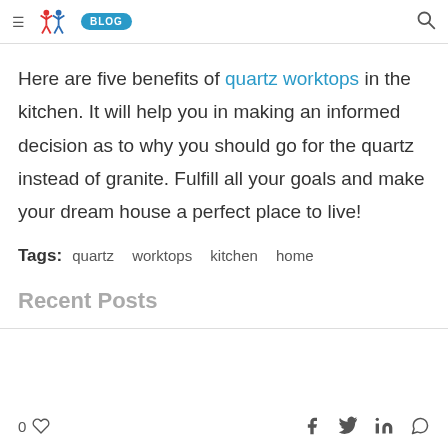≡ [Logo] BLOG [Search]
Here are five benefits of quartz worktops in the kitchen. It will help you in making an informed decision as to why you should go for the quartz instead of granite. Fulfill all your goals and make your dream house a perfect place to live!
Tags: quartz  worktops  kitchen  home
Recent Posts
0 ♡   f  twitter  in  whatsapp